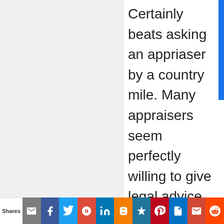Certainly beats asking an appriaser by a country mile. Many appraisers seem perfectly willing to give legal advice and they actually have little idea of what they are speaking nor are they licensed to practice law.

I am curious, your post seems to imply that a complaint = loss of your license to appraise. Here in Colorado I am beginning to see a lot of careful
Shares | email | facebook | twitter | google+ | linkedin | blogger | bookmark | pinterest | outlook | gmail | reddit